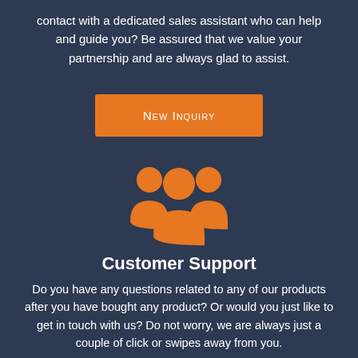contact with a dedicated sales assistant who can help and guide you? Be assured that we value your partnership and are always glad to assist.
[Figure (illustration): Orange button labeled 'New Inquiry']
[Figure (illustration): Orange group/team icon showing three people silhouettes]
Customer Support
Do you have any questions related to any of our products after you have bought any product? Or would you just like to get in touch with us? Do not worry, we are always just a couple of click or swipes away from you.
[Figure (illustration): Orange button partially visible at bottom of page]